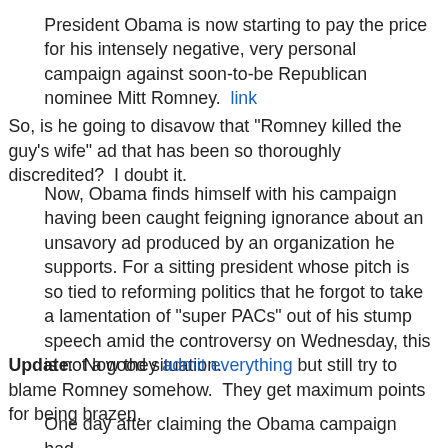President Obama is now starting to pay the price for his intensely negative, very personal campaign against soon-to-be Republican nominee Mitt Romney.  link
So, is he going to disavow that "Romney killed the guy's wife" ad that has been so thoroughly discredited?  I doubt it.
Now, Obama finds himself with his campaign having been caught feigning ignorance about an unsavory ad produced by an organization he supports. For a sitting president whose pitch is so tied to reforming politics that he forgot to take a lamentation of "super PACs" out of his stump speech amid the controversy on Wednesday, this is not a good situation.
Update:  Now they admit everything but still try to blame Romney somehow.  They get maximum points for being brazen.
One day after claiming the Obama campaign had